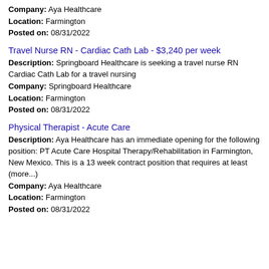Company: Aya Healthcare
Location: Farmington
Posted on: 08/31/2022
Travel Nurse RN - Cardiac Cath Lab - $3,240 per week
Description: Springboard Healthcare is seeking a travel nurse RN Cardiac Cath Lab for a travel nursing
Company: Springboard Healthcare
Location: Farmington
Posted on: 08/31/2022
Physical Therapist - Acute Care
Description: Aya Healthcare has an immediate opening for the following position: PT Acute Care Hospital Therapy/Rehabilitation in Farmington, New Mexico. This is a 13 week contract position that requires at least (more...)
Company: Aya Healthcare
Location: Farmington
Posted on: 08/31/2022